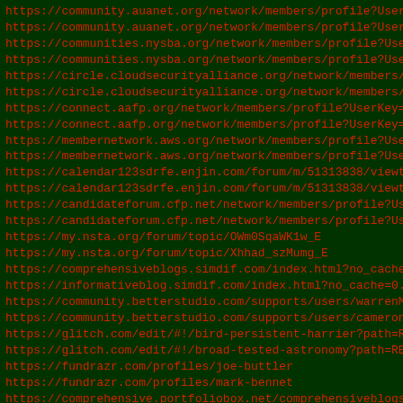https://community.auanet.org/network/members/profile?UserKe
https://community.auanet.org/network/members/profile?UserKe
https://communities.nysba.org/network/members/profile?UserK
https://communities.nysba.org/network/members/profile?UserK
https://circle.cloudsecurityalliance.org/network/members/pr
https://circle.cloudsecurityalliance.org/network/members/pr
https://connect.aafp.org/network/members/profile?UserKey=13
https://connect.aafp.org/network/members/profile?UserKey=5f
https://membernetwork.aws.org/network/members/profile?UserK
https://membernetwork.aws.org/network/members/profile?UserK
https://calendar123sdrfe.enjin.com/forum/m/51313838/viewthr
https://calendar123sdrfe.enjin.com/forum/m/51313838/viewthr
https://candidateforum.cfp.net/network/members/profile?User
https://candidateforum.cfp.net/network/members/profile?User
https://my.nsta.org/forum/topic/OWm0SqaWK1w_E
https://my.nsta.org/forum/topic/Xhhad_szMumg_E
https://comprehensiveblogs.simdif.com/index.html?no_cache=0
https://informativeblog.simdif.com/index.html?no_cache=0.29
https://community.betterstudio.com/supports/users/warrenMor
https://community.betterstudio.com/supports/users/cameronst
https://glitch.com/edit/#!/bird-persistent-harrier?path=REA
https://glitch.com/edit/#!/broad-tested-astronomy?path=READ
https://fundrazr.com/profiles/joe-buttler
https://fundrazr.com/profiles/mark-bennet
https://comprehensive.portfoliobox.net/comprehensiveblogs
https://comprehensive.portfoliobox.net/informativeblogs
https://careers.asrm.org/profile/warren-morrison/1595710/
https://careers.asrm.org/profile/cameron-stewart/1595731/
https://careers.swe.org/profile/warren-morrison/1595741/